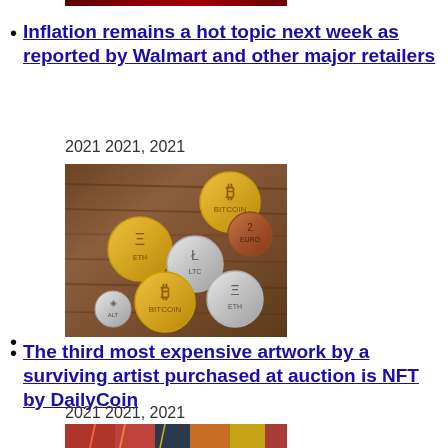[Figure (photo): Partial image of what appears to be a person, cropped at top of page]
Inflation remains a hot topic next week as reported by Walmart and other major retailers
2021 2021, 2021
[Figure (photo): Photo of various cryptocurrency coins (Bitcoin, Ethereum, Litecoin and others) arranged on a wooden surface]
The third most expensive artwork by a surviving artist purchased at auction is NFT by DailyCoin
2021 2021, 2021
[Figure (photo): Partial image of colorful NFT artwork at bottom of page]